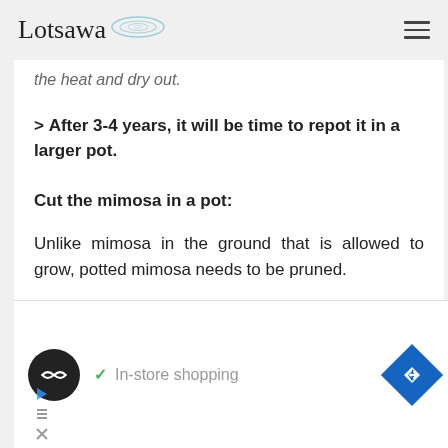Lotsawa
the heat and dry out.
> After 3-4 years, it will be time to repot it in a larger pot.
Cut the mimosa in a pot:
Unlike mimosa in the ground that is allowed to grow, potted mimosa needs to be pruned.
[Figure (other): Advertisement banner with store icon, checkmark, 'In-store shopping' text, and navigation arrow icon]